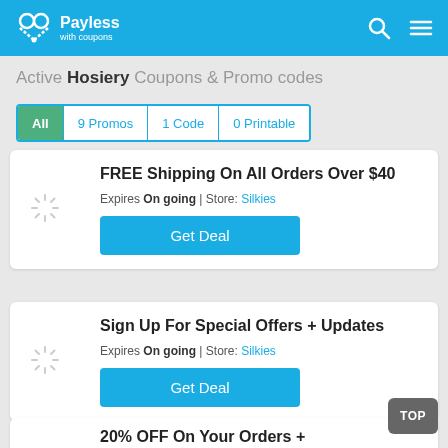Payless with coupons
Active Hosiery Coupons & Promo codes
All | 9 Promos | 1 Code | 0 Printable
FREE Shipping On All Orders Over $40 | Expires On going | Store: Silkies | Get Deal
Sign Up For Special Offers + Updates | Expires On going | Store: Silkies | Get Deal
20% OFF On Your Orders +